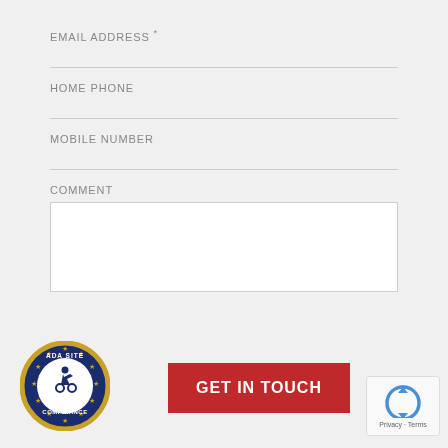EMAIL ADDRESS *
HOME PHONE
MOBILE NUMBER
COMMENT
[Figure (logo): ADA Site Compliance badge — circular blue and gold seal with wheelchair accessibility icon in center]
GET IN TOUCH
[Figure (logo): reCAPTCHA widget with arrow icon and Privacy · Terms text]